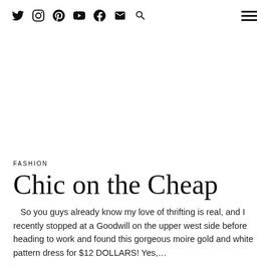Social media icons: Twitter, Instagram, Pinterest, YouTube, Facebook, Email, Search; Hamburger menu
FASHION
Chic on the Cheap
So you guys already know my love of thrifting is real, and I recently stopped at a Goodwill on the upper west side before heading to work and found this gorgeous moire gold and white pattern dress for $12 DOLLARS! Yes,...